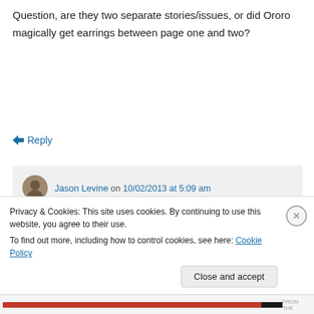Question, are they two separate stories/issues, or did Ororo magically get earrings between page one and two?
↳ Reply
Jason Levine on 10/02/2013 at 5:09 am
Interesting points about Storm — I never considered that possibility! So the first two pages take place in the same issue, just
Privacy & Cookies: This site uses cookies. By continuing to use this website, you agree to their use.
To find out more, including how to control cookies, see here: Cookie Policy
Close and accept